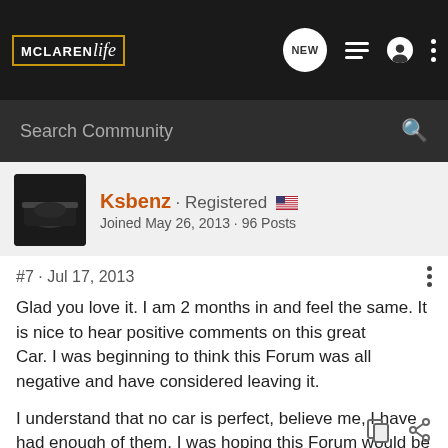McLaren Life · Search Community
Ksbenz · Registered
Joined May 26, 2013 · 96 Posts
#7 · Jul 17, 2013
Glad you love it. I am 2 months in and feel the same. It is nice to hear positive comments on this great
Car. I was beginning to think this Forum was all negative and have considered leaving it.

I understand that no car is perfect, believe me, I have had enough of them. I was hoping this Forum would be a little more classy than others and not have all the in thread bickering!